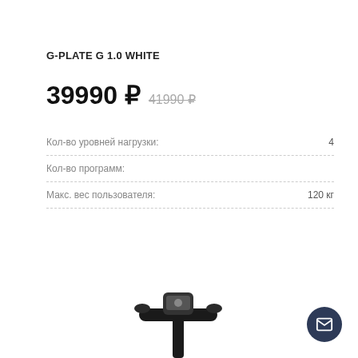G-PLATE G 1.0 WHITE
39990 ₽  41990 ₽
| Характеристика | Значение |
| --- | --- |
| Кол-во уровней нагрузки: | 4 |
| Кол-во программ: |  |
| Макс. вес пользователя: | 120 кг |
[Figure (photo): Black exercise bike / fitness equipment handlebar and console, partial view at bottom of page]